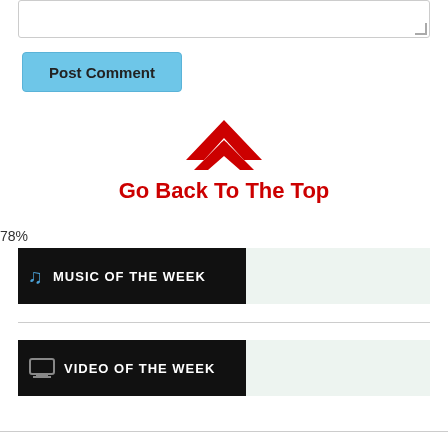[Figure (screenshot): Textarea input box with resize handle at bottom right]
[Figure (screenshot): Post Comment button in light blue]
Go Back To The Top
78%
[Figure (screenshot): MUSIC OF THE WEEK banner with musical note icon, black background on left, light green on right]
[Figure (screenshot): VIDEO OF THE WEEK banner with monitor icon, black background on left, light green on right]